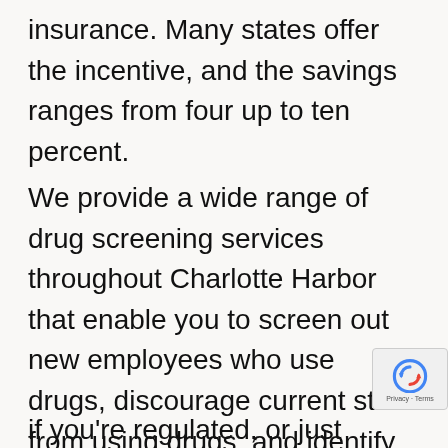insurance. Many states offer the incentive, and the savings ranges from four up to ten percent.
We provide a wide range of drug screening services throughout Charlotte Harbor that enable you to screen out new employees who use drugs, discourage current staff from using drugs, and identify those who do. All while maintaining DOT compliance if you're regulated, or just freeing you